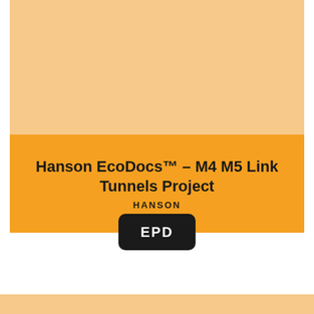[Figure (other): Large light peach/orange rectangular image block at the top of the cover page]
Hanson EcoDocs™ – M4 M5 Link Tunnels Project
HANSON
EPD